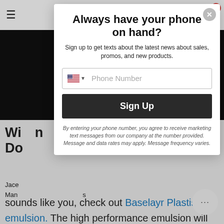Navigation bar with hamburger menu and cart icon (0 items)
Always have your phone on hand?
Sign up to get texts about the latest news about sales, promos, and new products.
Phone Number (input field with US flag)
Sign Up
By entering your phone number, you agree to receive marketing text messages from our company at the number provided. Message and data rates may apply. Message frequency varies.
sounds like you, check out Baselayr Plastisol emulsion. The high performance emulsion will streamline production by exposing faster, rinsing out quicker, and reclaiming with less effort. to get the most from this emulsion? Expert Colin